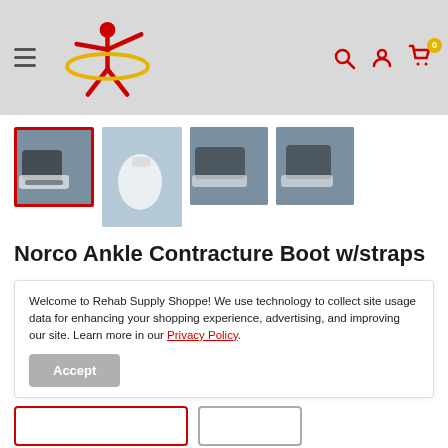Rehab Supply Shoppe navigation header with logo, hamburger menu, search, account, and cart icons
[Figure (photo): Four product thumbnail images of the Norco Ankle Contracture Boot with straps; first thumbnail is selected (red border)]
Norco Ankle Contracture Boot w/straps
Welcome to Rehab Supply Shoppe! We use technology to collect site usage data for enhancing your shopping experience, advertising, and improving our site. Learn more in our Privacy Policy.
Accept